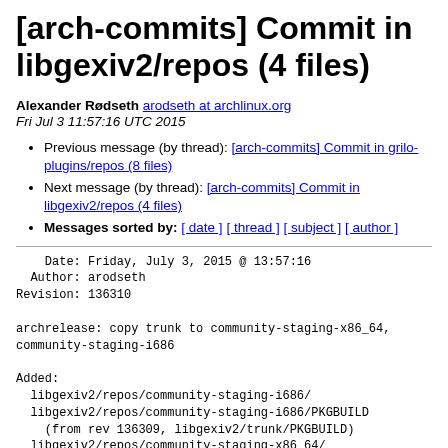[arch-commits] Commit in libgexiv2/repos (4 files)
Alexander Rødseth arodseth at archlinux.org
Fri Jul 3 11:57:16 UTC 2015
Previous message (by thread): [arch-commits] Commit in grilo-plugins/repos (8 files)
Next message (by thread): [arch-commits] Commit in libgexiv2/repos (4 files)
Messages sorted by: [ date ] [ thread ] [ subject ] [ author ]
Date: Friday, July 3, 2015 @ 13:57:16
  Author: arodseth
Revision: 136310

archrelease: copy trunk to community-staging-x86_64,
community-staging-i686

Added:
  libgexiv2/repos/community-staging-i686/
  libgexiv2/repos/community-staging-i686/PKGBUILD
    (from rev 136309, libgexiv2/trunk/PKGBUILD)
  libgexiv2/repos/community-staging-x86_64/